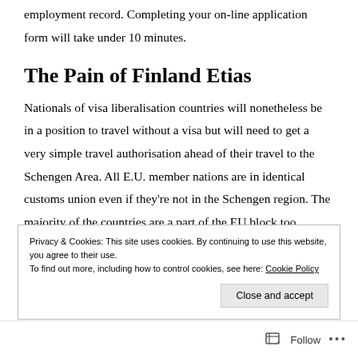employment record. Completing your on-line application form will take under 10 minutes.
The Pain of Finland Etias
Nationals of visa liberalisation countries will nonetheless be in a position to travel without a visa but will need to get a very simple travel authorisation ahead of their travel to the Schengen Area. All E.U. member nations are in identical customs union even if they're not in the Schengen region. The majority of the countries are a part of the EU block too.
Privacy & Cookies: This site uses cookies. By continuing to use this website, you agree to their use.
To find out more, including how to control cookies, see here: Cookie Policy
Follow ...